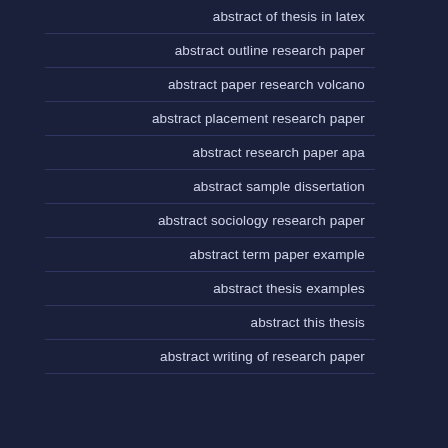| abstract of thesis in latex |
| abstract outline research paper |
| abstract paper research volcano |
| abstract placement research paper |
| abstract research paper apa |
| abstract sample dissertation |
| abstract sociology research paper |
| abstract term paper example |
| abstract thesis examples |
| abstract this thesis |
| abstract writing of research paper |